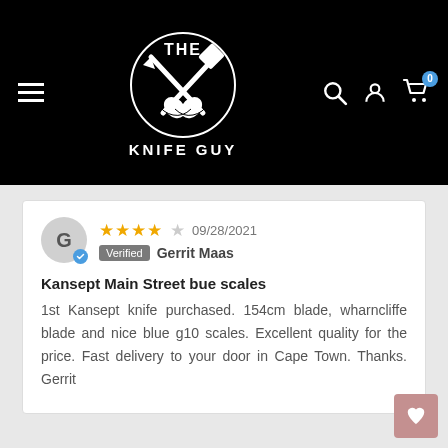[Figure (logo): The Knife Guy logo — crossed knife and cleaver held by hands, white on black background, with text THE KNIFE GUY]
★★★★☆ 09/28/2021 Verified Gerrit Maas
Kansept Main Street bue scales
1st Kansept knife purchased. 154cm blade, wharncliffe blade and nice blue g10 scales. Excellent quality for the price. Fast delivery to your door in Cape Town. Thanks. Gerrit